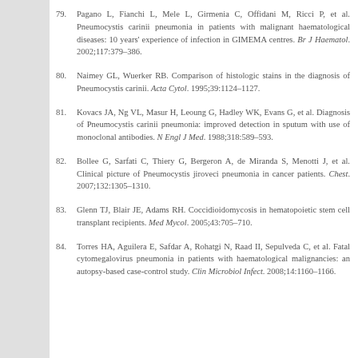79. Pagano L, Fianchi L, Mele L, Girmenia C, Offidani M, Ricci P, et al. Pneumocystis carinii pneumonia in patients with malignant haematological diseases: 10 years' experience of infection in GIMEMA centres. Br J Haematol. 2002;117:379–386.
80. Naimey GL, Wuerker RB. Comparison of histologic stains in the diagnosis of Pneumocystis carinii. Acta Cytol. 1995;39:1124–1127.
81. Kovacs JA, Ng VL, Masur H, Leoung G, Hadley WK, Evans G, et al. Diagnosis of Pneumocystis carinii pneumonia: improved detection in sputum with use of monoclonal antibodies. N Engl J Med. 1988;318:589–593.
82. Bollee G, Sarfati C, Thiery G, Bergeron A, de Miranda S, Menotti J, et al. Clinical picture of Pneumocystis jiroveci pneumonia in cancer patients. Chest. 2007;132:1305–1310.
83. Glenn TJ, Blair JE, Adams RH. Coccidioidomycosis in hematopoietic stem cell transplant recipients. Med Mycol. 2005;43:705–710.
84. Torres HA, Aguilera E, Safdar A, Rohatgi N, Raad II, Sepulveda C, et al. Fatal cytomegalovirus pneumonia in patients with haematological malignancies: an autopsy-based case-control study. Clin Microbiol Infect. 2008;14:1160–1166.